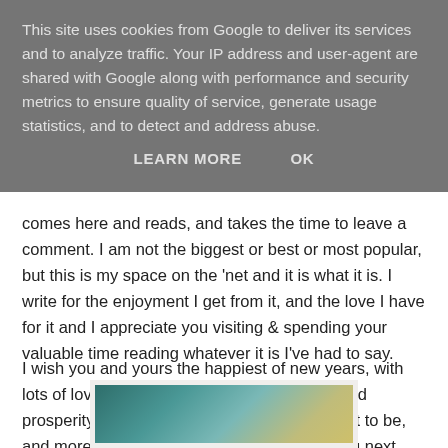This site uses cookies from Google to deliver its services and to analyze traffic. Your IP address and user-agent are shared with Google along with performance and security metrics to ensure quality of service, generate usage statistics, and to detect and address abuse.
LEARN MORE    OK
comes here and reads, and takes the time to leave a comment. I am not the biggest or best or most popular, but this is my space on the 'net and it is what it is. I write for the enjoyment I get from it, and the love I have for it and I appreciate you visiting & spending your valuable time reading whatever it is I've had to say.
I wish you and yours the happiest of new years, with lots of love, peace, good health, happiness and prosperity. May 2015 be everything you wish it to be, and more. Thank you for reading, and see you next year!
[Figure (photo): A partially visible photograph with teal/green and yellow/beige gradient tones, shown at the bottom of the page with a white polaroid-style border.]